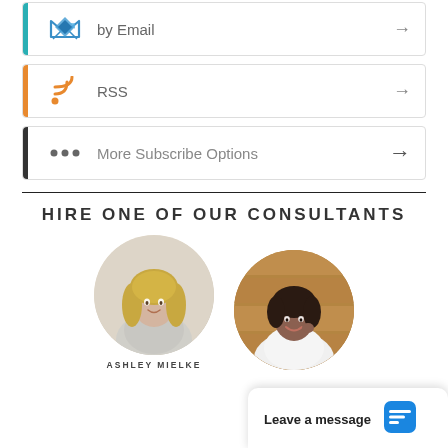by Email →
RSS →
More Subscribe Options →
HIRE ONE OF OUR CONSULTANTS
[Figure (photo): Circular portrait photo of Ashley Mielke, a blonde woman in a white sweater]
[Figure (photo): Circular portrait photo of a smiling woman in a white blouse against a wooden background]
ASHLEY MIELKE
Leave a message